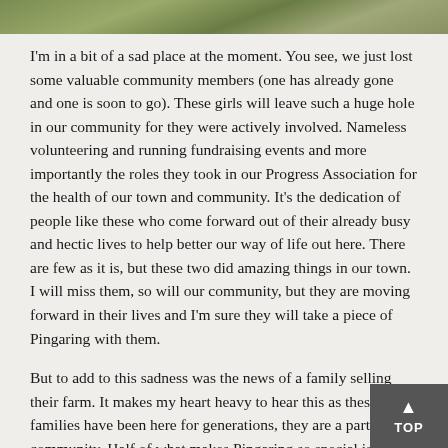[Figure (photo): Partial outdoor photo strip at top of page showing greenery and a path]
I'm in a bit of a sad place at the moment. You see, we just lost some valuable community members (one has already gone and one is soon to go). These girls will leave such a huge hole in our community for they were actively involved. Nameless volunteering and running fundraising events and more importantly the roles they took in our Progress Association for the health of our town and community. It's the dedication of people like these who come forward out of their already busy and hectic lives to help better our way of life out here. There are few as it is, but these two did amazing things in our town. I will miss them, so will our community, but they are moving forward in their lives and I'm sure they will take a piece of Pingaring with them.
But to add to this sadness was the news of a family selling their farm. It makes my heart heavy to hear this as these families have been here for generations, they are a part of the community. Half of what makes Pingaring so special is the characters that live here and have done so for years.